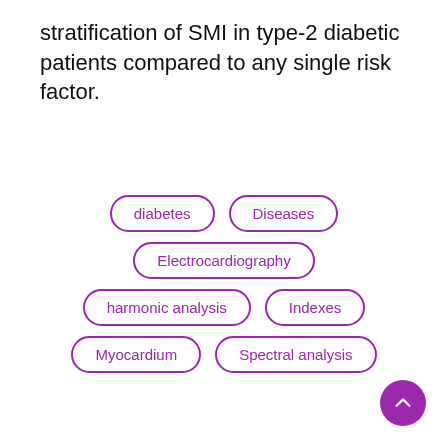stratification of SMI in type-2 diabetic patients compared to any single risk factor.
[Figure (infographic): Tag cloud with pill-shaped bordered labels in purple: diabetes, Diseases, Electrocardiography, harmonic analysis, Indexes, Myocardium, Spectral analysis]